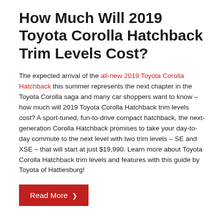How Much Will 2019 Toyota Corolla Hatchback Trim Levels Cost?
The expected arrival of the all-new 2019 Toyota Corolla Hatchback this summer represents the next chapter in the Toyota Corolla saga and many car shoppers want to know – how much will 2019 Toyota Corolla Hatchback trim levels cost? A sport-tuned, fun-to-drive compact hatchback, the next-generation Corolla Hatchback promises to take your day-to-day commute to the next level with two trim levels – SE and XSE – that will start at just $19,990. Learn more about Toyota Corolla Hatchback trim levels and features with this guide by Toyota of Hattiesburg!
Read More ❯